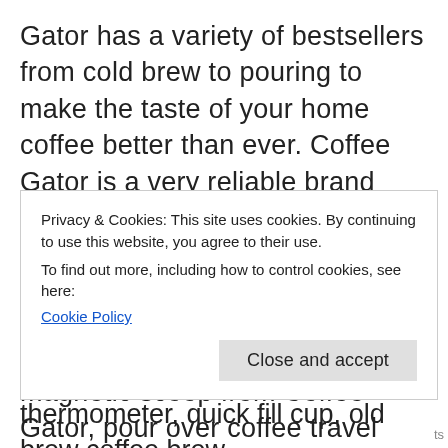Gator has a variety of bestsellers from cold brew to pouring to make the taste of your home coffee better than ever. Coffee Gator is a very reliable brand and when you buy the products, you can find yourself in the coffee world.
Coffee beans and grounds with magnetic scoop from Coffee Gator, pour over coffee travel mug, reusable stainless steel filter coffee infuser, coffee brew kettle, french press coffee maker - heat insulated coffee pot, stainless steel coffee can, thermometer, quick fill cup, old brew coffee brew
Privacy & Cookies: This site uses cookies. By continuing to use this website, you agree to their use.
To find out more, including how to control cookies, see here:
Cookie Policy
Close and accept